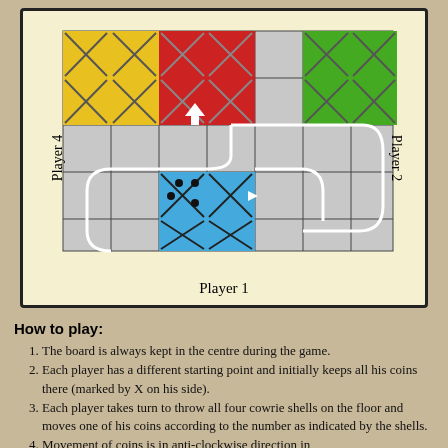[Figure (illustration): A Ludo/Pachisi board game diagram showing a partial board with colored squares for 4 players. Yellow squares (Player 4) top-left with X marks, red squares at top-center with X marks and upward arrow, green squares (Player 2) top-right with X marks, blue squares (Player 1) at bottom-center with dots and X marks. Gray grid squares form the board path. White path arrows show movement direction. Labels: Player 1 (bottom), Player 4 (left, rotated), Player 2 (right, rotated).]
How to play:
The board is always kept in the centre during the game.
Each player has a different starting point and initially keeps all his coins there (marked by X on his side).
Each player takes turn to throw all four cowrie shells on the floor and moves one of his coins according to the number as indicated by the shells.
Movement of coins is in anti-clockwise direction in...